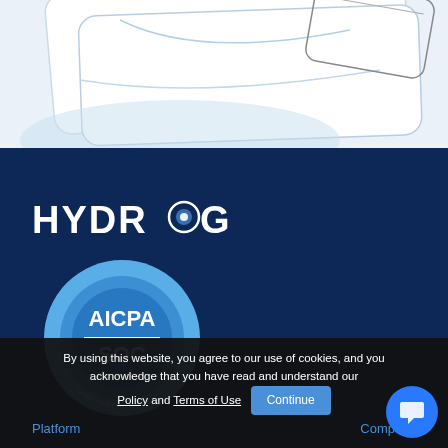[Figure (illustration): Illustration of a mobile/tablet device with light blue abstract shapes on a light background at the top of the page]
[Figure (logo): Hydrogen company logo in white text on dark navy background, with a circular globe icon replacing the letter O]
[Figure (logo): AICPA SOC certification badge - circular blue badge with text 'AICPA SOC aicpa.org/soc4so' and 'Service Organizations' around the edge]
By using this website, you agree to our use of cookies, and you acknowledge that you have read and understand our Policy and Terms of Use
Platform
Company